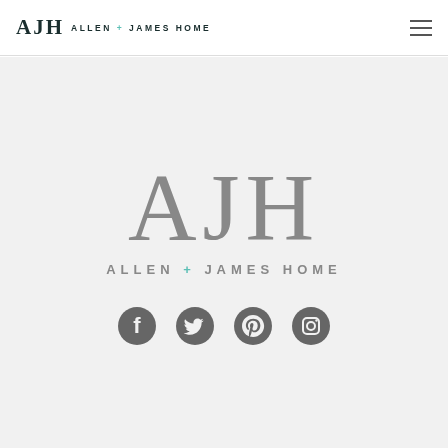AJH ALLEN + JAMES HOME
[Figure (logo): Allen + James Home large centered logo with AJH monogram in gray serif letters and ALLEN + JAMES HOME text below with teal plus sign]
[Figure (infographic): Four social media icon circles in dark gray: Facebook, Twitter, Pinterest, Instagram]